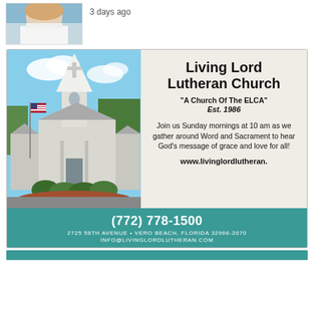[Figure (photo): Profile photo of a woman with blonde hair in a white shirt, partially visible at top of page]
3 days ago
[Figure (photo): Advertisement for Living Lord Lutheran Church showing a white church building with steeple, American flag, and landscaping on the left; text panel on the right reads: Living Lord Lutheran Church, A Church Of The ELCA, Est. 1986, Join us Sunday mornings at 10 am as we gather around Word and Sacrament to hear God's message of grace and love for all! www.livinglordlutheran. Footer in teal: (772) 778-1500, 2725 58TH AVENUE • VERO BEACH, FLORIDA 32966-2070, INFO@LIVINGLORDLUTHERAN.COM]
[Figure (photo): Partial view of another teal-colored advertisement at the bottom of the page, mostly cut off]